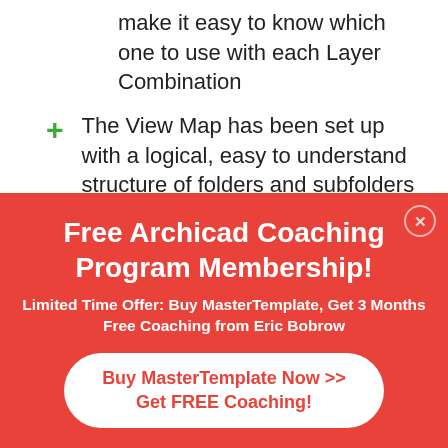make it easy to know which one to use with each Layer Combination
The View Map has been set up with a logical, easy to understand structure of folders and subfolders that allow you to focus on just what you need at any given time; Clone folders are set
Free Archicad Coaching Program Membership!
Limited Time Offer: Buy MasterTemplate, Get 3 Months Free Coaching from Eric Bobrow
Buy MasterTemplate Now >> Get FREE Coaching!